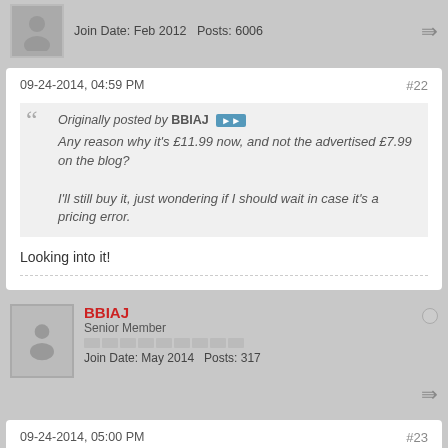Join Date: Feb 2012   Posts: 6006
09-24-2014, 04:59 PM  #22
Originally posted by BBIAJ
Any reason why it's £11.99 now, and not the advertised £7.99 on the blog?
I'll still buy it, just wondering if I should wait in case it's a pricing error.
Looking into it!
BBIAJ
Senior Member
Join Date: May 2014   Posts: 317
09-24-2014, 05:00 PM  #23
Cheers for the update, will hold tight for now!